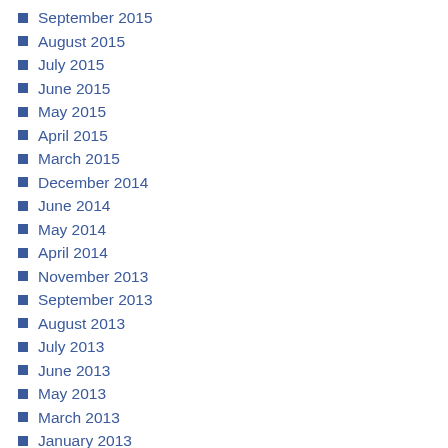September 2015
August 2015
July 2015
June 2015
May 2015
April 2015
March 2015
December 2014
June 2014
May 2014
April 2014
November 2013
September 2013
August 2013
July 2013
June 2013
May 2013
March 2013
January 2013